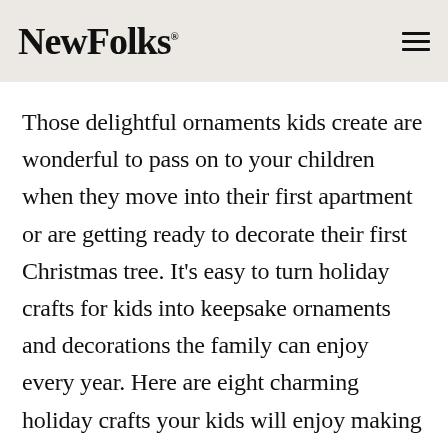NewFolks.
Those delightful ornaments kids create are wonderful to pass on to your children when they move into their first apartment or are getting ready to decorate their first Christmas tree. It’s easy to turn holiday crafts for kids into keepsake ornaments and decorations the family can enjoy every year. Here are eight charming holiday crafts your kids will enjoy making and that you all will enjoy for many years to come.